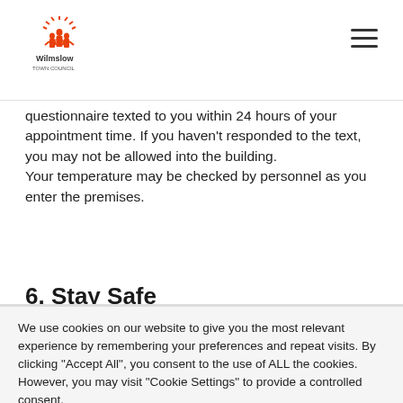Wilmslow Town Council
questionnaire texted to you within 24 hours of your appointment time. If you haven't responded to the text, you may not be allowed into the building.
Your temperature may be checked by personnel as you enter the premises.
6. Stay Safe
We use cookies on our website to give you the most relevant experience by remembering your preferences and repeat visits. By clicking "Accept All", you consent to the use of ALL the cookies. However, you may visit "Cookie Settings" to provide a controlled consent.